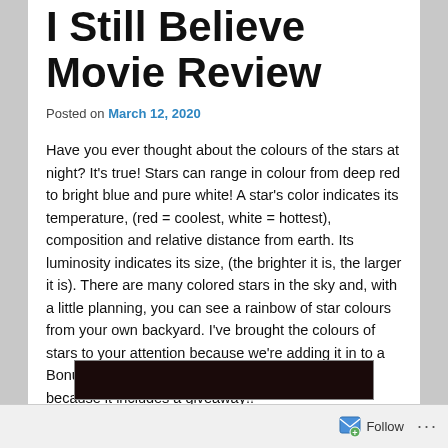I Still Believe Movie Review
Posted on March 12, 2020
Have you ever thought about the colours of the stars at night? It's true! Stars can range in colour from deep red to bright blue and pure white! A star's color indicates its temperature, (red = coolest, white = hottest), composition and relative distance from earth. Its luminosity indicates its size, (the brighter it is, the larger it is). There are many colored stars in the sky and, with a little planning, you can see a rainbow of star colours from your own backyard. I've brought the colours of stars to your attention because we're adding it in to a Bonus Colouring Party Post!! You'll want to read it, because it includes a giveaway!!
[Figure (photo): Dark movie-related image at the bottom of the page, partially visible]
Follow